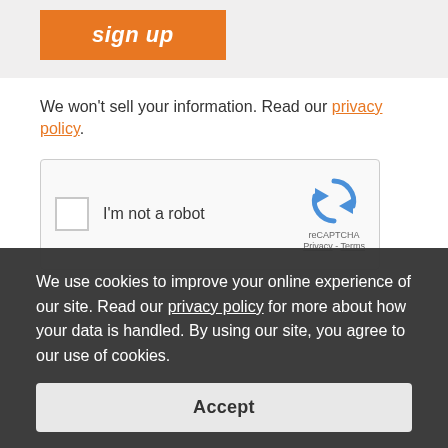[Figure (screenshot): Orange 'sign up' button on a light grey background]
We won't sell your information. Read our privacy policy.
[Figure (screenshot): reCAPTCHA widget with checkbox labeled 'I'm not a robot' and reCAPTCHA logo with Privacy and Terms links]
We use cookies to improve your online experience of our site. Read our privacy policy for more about how your data is handled. By using our site, you agree to our use of cookies.
Accept